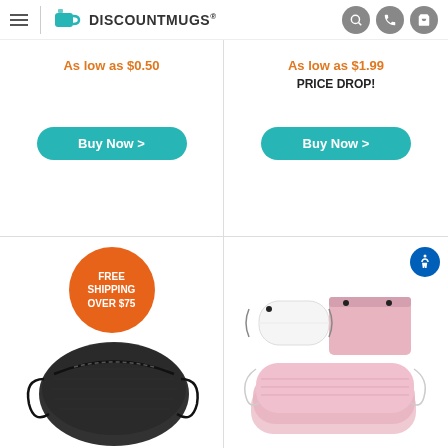[Figure (screenshot): DiscountMugs website header with hamburger menu, teal mug logo, brand name, and icons for search, phone, and cart]
As low as $0.50
As low as $1.99
PRICE DROP!
Buy Now >
Buy Now >
[Figure (infographic): Orange circular badge reading FREE SHIPPING OVER $75]
[Figure (photo): Black KN95 face mask product photo]
[Figure (photo): Pink disposable face masks product photo showing box and loose masks]